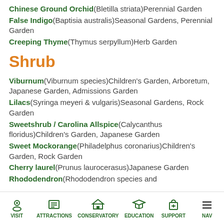Chinese Ground Orchid(Bletilla striata)Perennial Garden
False Indigo(Baptisia australis)Seasonal Gardens, Perennial Garden
Creeping Thyme(Thymus serpyllum)Herb Garden
Shrub
Viburnum(Viburnum species)Children's Garden, Arboretum, Japanese Garden, Admissions Garden
Lilacs(Syringa meyeri & vulgaris)Seasonal Gardens, Rock Garden
Sweetshrub / Carolina Allspice(Calycanthus floridus)Children's Garden, Japanese Garden
Sweet Mockorange(Philadelphus coronarius)Children's Garden, Rock Garden
Cherry laurel(Prunus laurocerasus)Japanese Garden
Rhododendron(Rhododendron species and
VISIT | ATTRACTIONS | CONSERVATORY | EDUCATION | SUPPORT | NAV